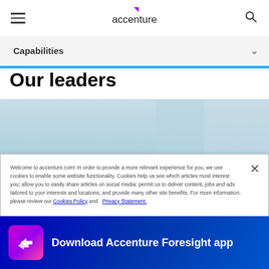[Figure (logo): Accenture logo with purple arrow mark and lowercase accenture text, hamburger menu icon on left, search icon on right]
Capabilities
Our leaders
[Figure (photo): Partial photo of a person's head with dark hair against a light blue background]
Welcome to accenture.com! In order to provide a more relevant experience for you, we use cookies to enable some website functionality. Cookies help us see which articles most interest you; allow you to easily share articles on social media; permit us to deliver content, jobs and ads tailored to your interests and locations; and provide many other site benefits. For more information, please review our Cookies Policy and Privacy Statement.
Cookies Settings
Download Accenture Foresight app